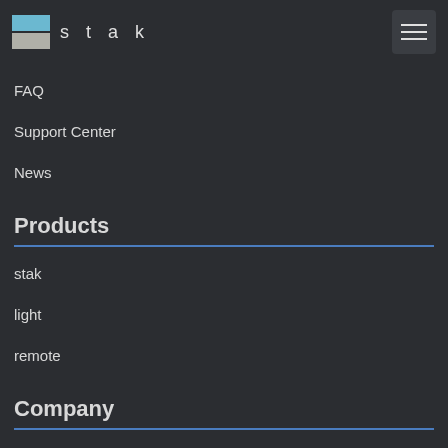[Figure (logo): stak logo with blue and gray horizontal blocks and text 'stak']
FAQ
Support Center
News
Products
stak
light
remote
Company
Company Profile
News
Contacts